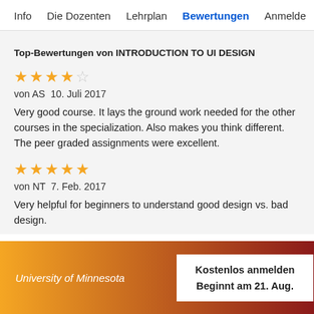Info   Die Dozenten   Lehrplan   Bewertungen   Anmelde
Top-Bewertungen von INTRODUCTION TO UI DESIGN
★★★★☆
von AS  10. Juli 2017

Very good course. It lays the ground work needed for the other courses in the specialization. Also makes you think different. The peer graded assignments were excellent.
★★★★★
von NT  7. Feb. 2017

Very helpful for beginners to understand good design vs. bad design.
University of Minnesota
Kostenlos anmelden
Beginnt am 21. Aug.